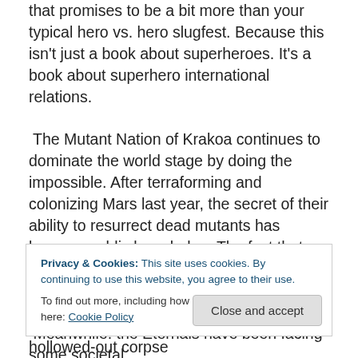that promises to be a bit more than your typical hero vs. hero slugfest. Because this isn't just a book about superheroes. It's a book about superhero international relations.
The Mutant Nation of Krakoa continues to dominate the world stage by doing the impossible. After terraforming and colonizing Mars last year, the secret of their ability to resurrect dead mutants has become public knowledge. The fact that they are unable to bring back humans has led to a public backlash and mistrust.
Meanwhile. the Eternals have been facing some societal
Privacy & Cookies: This site uses cookies. By continuing to use this website, you agree to their use. To find out more, including how to control cookies, see here: Cookie Policy
Oh, also the Avengers are using the hollowed-out corpse